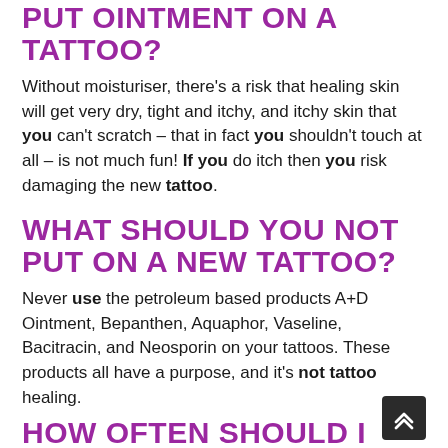PUT OINTMENT ON A TATTOO?
Without moisturiser, there's a risk that healing skin will get very dry, tight and itchy, and itchy skin that you can't scratch – that in fact you shouldn't touch at all – is not much fun! If you do itch then you risk damaging the new tattoo.
WHAT SHOULD YOU NOT PUT ON A NEW TATTOO?
Never use the petroleum based products A+D Ointment, Bepanthen, Aquaphor, Vaseline, Bacitracin, and Neosporin on your tattoos. These products all have a purpose, and it's not tattoo healing.
HOW OFTEN SHOULD I